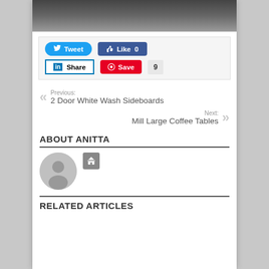[Figure (photo): Partial view of a living room furniture photo (sofa/coffee table on rug), cropped at top]
Tweet | Like 0 | Share | Save 9
Previous: 2 Door White Wash Sideboards
Next: Mill Large Coffee Tables
ABOUT ANITTA
[Figure (illustration): Gray default user avatar circle with person silhouette, and a small gray home icon box]
RELATED ARTICLES